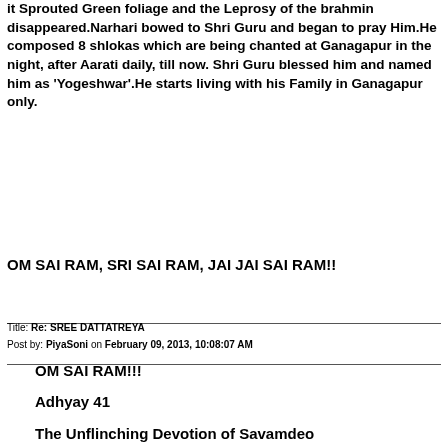it Sprouted Green foliage and the Leprosy of the brahmin disappeared.Narhari bowed to Shri Guru and began to pray Him.He composed 8 shlokas which are being chanted at Ganagapur in the night, after Aarati daily, till now. Shri Guru blessed him and named him as 'Yogeshwar'.He starts living with his Family in Ganagapur only.
OM SAI RAM, SRI SAI RAM, JAI JAI SAI RAM!!
Title: Re: SREE DATTATREYA
Post by: PiyaSoni on February 09, 2013, 10:08:07 AM
OM SAI RAM!!!
Adhyay 41
The Unflinching Devotion of Savamdeo